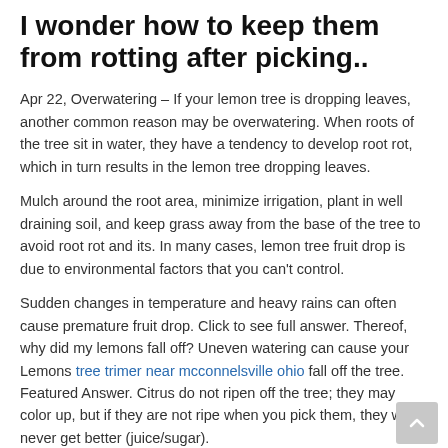I wonder how to keep them from rotting after picking..
Apr 22, Overwatering – If your lemon tree is dropping leaves, another common reason may be overwatering. When roots of the tree sit in water, they have a tendency to develop root rot, which in turn results in the lemon tree dropping leaves.
Mulch around the root area, minimize irrigation, plant in well draining soil, and keep grass away from the base of the tree to avoid root rot and its. In many cases, lemon tree fruit drop is due to environmental factors that you can't control.
Sudden changes in temperature and heavy rains can often cause premature fruit drop. Click to see full answer. Thereof, why did my lemons fall off? Uneven watering can cause your Lemons tree trimer near mcconnelsville ohio fall off the tree. Featured Answer. Citrus do not ripen off the tree; they may color up, but if they are not ripe when you pick them, they will never get better (juice/sugar).
If the lemons are ripe but not colored when you pick them, the